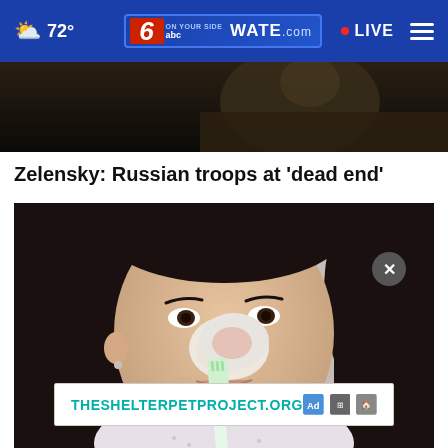72° WATE.com LIVE
[Figure (photo): Dark cropped image at top, partial view of person in dark clothing]
Zelensky: Russian troops at 'dead end'
[Figure (photo): Young Asian woman applying white cream/mask to her nose with a toothbrush, looking at camera]
THESHELTERPETPROJECT.ORG